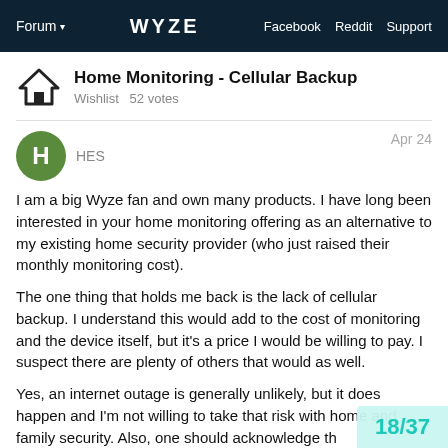Forum  WYZE  Facebook  Reddit  Support
Home Monitoring - Cellular Backup
Wishlist  52 votes
HES   Apr 24
I am a big Wyze fan and own many products. I have long been interested in your home monitoring offering as an alternative to my existing home security provider (who just raised their monthly monitoring cost).
The one thing that holds me back is the lack of cellular backup. I understand this would add to the cost of monitoring and the device itself, but it's a price I would be willing to pay. I suspect there are plenty of others that would as well.
Yes, an internet outage is generally unlikely, but it does happen and I'm not willing to take that risk with home and family security. Also, one should acknowledge th may think to simply cut the internet cable:
18/37